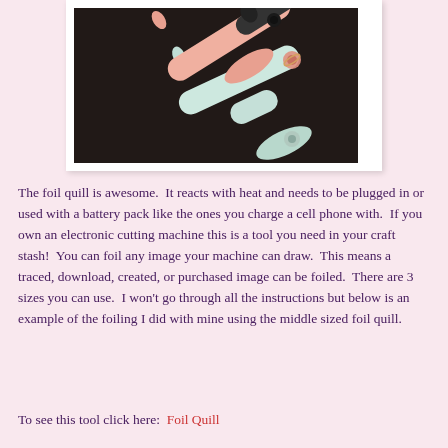[Figure (photo): Photo of three foil quill tools (pens/styluses) lying on a dark surface — one black, one peach/salmon, one mint green — shown at an angle, displayed in a white bordered frame.]
The foil quill is awesome.  It reacts with heat and needs to be plugged in or used with a battery pack like the ones you charge a cell phone with.  If you own an electronic cutting machine this is a tool you need in your craft stash!  You can foil any image your machine can draw.  This means a traced, download, created, or purchased image can be foiled.  There are 3 sizes you can use.  I won't go through all the instructions but below is an example of the foiling I did with mine using the middle sized foil quill.
To see this tool click here:  Foil Quill